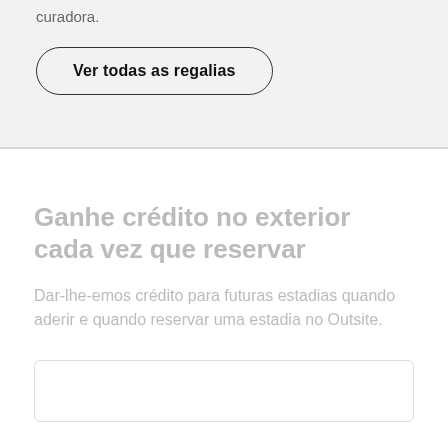curadora.
Ver todas as regalias
Ganhe crédito no exterior cada vez que reservar
Dar-lhe-emos crédito para futuras estadias quando aderir e quando reservar uma estadia no Outsite.